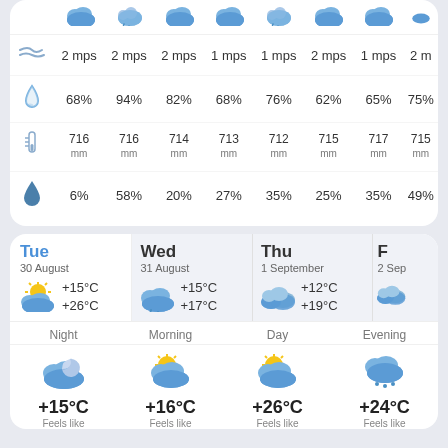| icon | col1 | col2 | col3 | col4 | col5 | col6 | col7 | col8 |
| --- | --- | --- | --- | --- | --- | --- | --- | --- |
| wind | 2 mps | 2 mps | 2 mps | 1 mps | 1 mps | 2 mps | 1 mps | 2 mps |
| humidity | 68% | 94% | 82% | 68% | 76% | 62% | 65% | 75% |
| pressure | 716 mm | 716 mm | 714 mm | 713 mm | 712 mm | 715 mm | 717 mm | 715 mm |
| precipitation | 6% | 58% | 20% | 27% | 35% | 25% | 35% | 49% |
| Tue 30 August | Wed 31 August | Thu 1 September | Fri 2 Sep |
| --- | --- | --- | --- |
| +15°C / +26°C | +15°C / +17°C | +12°C / +19°C |  |
| Night | Morning | Day | Evening |
| --- | --- | --- | --- |
| +15°C Feels like | +16°C Feels like | +26°C Feels like | +24°C Feels like |